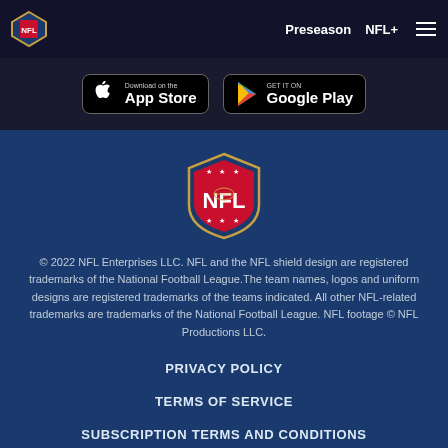[Figure (logo): NFL shield logo in top left navigation bar]
Preseason  NFL+  ☰
[Figure (screenshot): Download on the App Store button and Get it on Google Play button on dark background bar]
[Figure (logo): NFL shield logo centered in blue footer area]
© 2022 NFL Enterprises LLC. NFL and the NFL shield design are registered trademarks of the National Football League.The team names, logos and uniform designs are registered trademarks of the teams indicated. All other NFL-related trademarks are trademarks of the National Football League. NFL footage © NFL Productions LLC.
PRIVACY POLICY
TERMS OF SERVICE
SUBSCRIPTION TERMS AND CONDITIONS